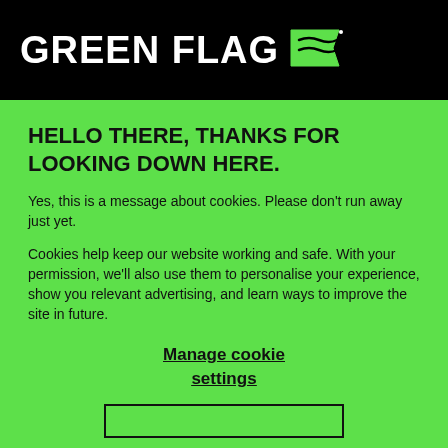GREEN FLAG
HELLO THERE, THANKS FOR LOOKING DOWN HERE.
Yes, this is a message about cookies. Please don't run away just yet.
Cookies help keep our website working and safe. With your permission, we'll also use them to personalise your experience, show you relevant advertising, and learn ways to improve the site in future.
Manage cookie settings